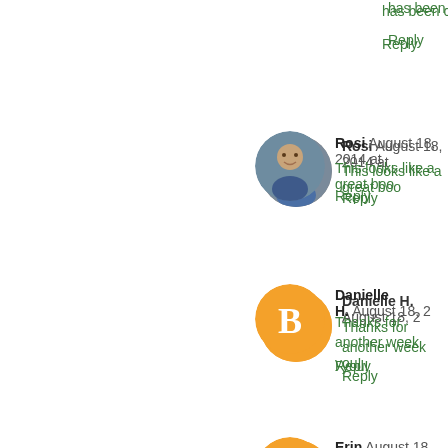has been cyberbullied at...
Reply
Rosi  August 18, 2014 at...
This looks like a great boo...
Reply
Danielle H.  August 18, 2...
Thanks for another week... you!
Reply
Erin  August 18, 2014 at...
All of the covers for these...
Reply
Anonymous  August 19,...
Awesome giveaway!  Sea...